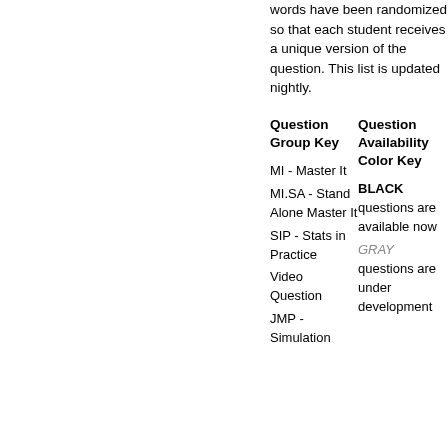words have been randomized so that each student receives a unique version of the question. This list is updated nightly.
| Question Group Key | Question Availability Color Key |
| --- | --- |
| MI - Master It | BLACK questions are available now |
| MI.SA - Stand Alone Master It | GRAY questions are under development |
| SIP - Stats in Practice |  |
| Video Question |  |
| JMP - Simulation |  |